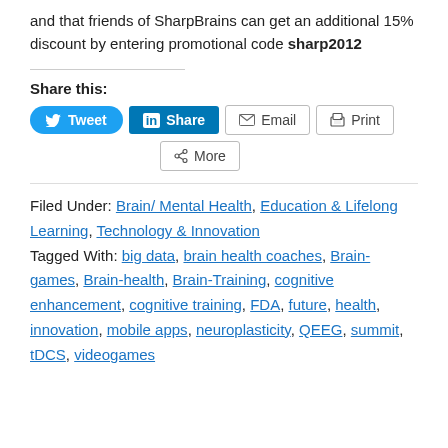and that friends of SharpBrains can get an additional 15% discount by entering promotional code sharp2012
Share this:
[Figure (infographic): Social sharing buttons: Tweet (Twitter), Share (LinkedIn), Email, Print, More]
Filed Under: Brain/ Mental Health, Education & Lifelong Learning, Technology & Innovation Tagged With: big data, brain health coaches, Brain-games, Brain-health, Brain-Training, cognitive enhancement, cognitive training, FDA, future, health, innovation, mobile apps, neuroplasticity, QEEG, summit, tDCS, videogames